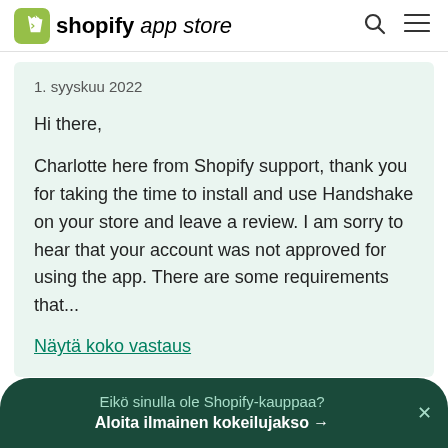shopify app store
1. syyskuu 2022

Hi there,

Charlotte here from Shopify support, thank you for taking the time to install and use Handshake on your store and leave a review. I am sorry to hear that your account was not approved for using the app. There are some requirements that...
Näytä koko vastaus
Eikö sinulla ole Shopify-kauppaa?
Aloita ilmainen kokeilujakso →